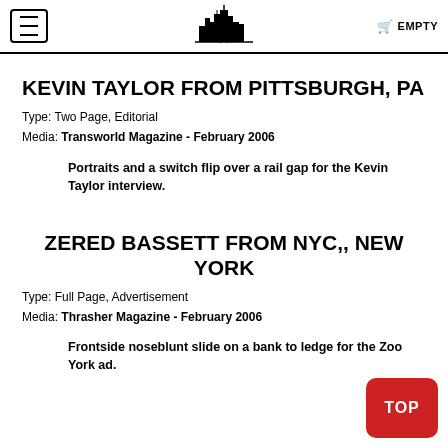EMPTY
KEVIN TAYLOR FROM PITTSBURGH, PA
Type: Two Page, Editorial
Media: Transworld Magazine - February 2006
Portraits and a switch flip over a rail gap for the Kevin Taylor interview.
ZERED BASSETT FROM NYC,, NEW YORK
Type: Full Page, Advertisement
Media: Thrasher Magazine - February 2006
Frontside noseblunt slide on a bank to ledge for the Zoo York ad.